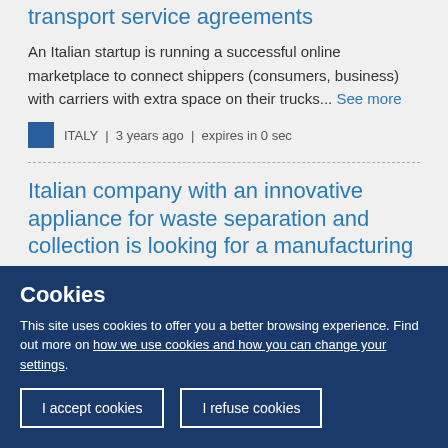transport service agreements
An Italian startup is running a successful online marketplace to connect shippers (consumers, business) with carriers with extra space on their trucks... See more
ITALY  |  3 years ago  |  expires in 0 sec
Italian company with an innovative appliance for waste separation and collection is looking for a manufacturing
Cookies
This site uses cookies to offer you a better browsing experience. Find out more on how we use cookies and how you can change your settings.
I accept cookies
I refuse cookies